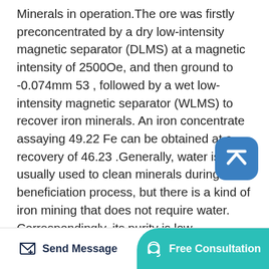Minerals in operation. The ore was firstly preconcentrated by a dry low-intensity magnetic separator (DLMS) at a magnetic intensity of 2500Oe, and then ground to -0.074mm 53 , followed by a wet low-intensity magnetic separator (WLMS) to recover iron minerals. An iron concentrate assaying 49.22 Fe can be obtained at a recovery of 46.23 .Generally, water is usually used to clean minerals during the beneficiation process, but there is a kind of iron mining that does not require water. Correspondingly, its purity is low. Beneficiation process. The magnetic separation line consists of feeder, jaw crusher, screen, ball mill, classifier, magnetic separator, concentrator, and dryer.Jun 24, 2015 Magnetic separation has two major applications in
Send Message   Free Consultation